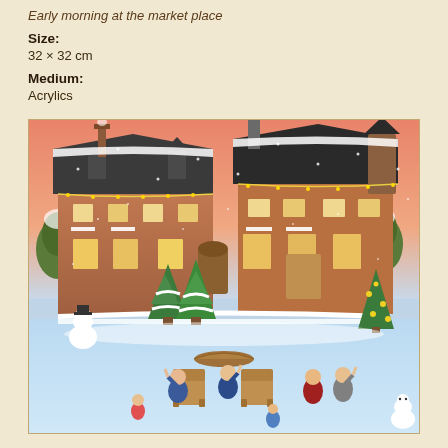Early morning at the market place
Size:
32 × 32 cm
Medium:
Acrylics
[Figure (illustration): A naive/folk art style painting of a large brick mansion covered in snow with Christmas lights, decorated Christmas trees in front, a snowy courtyard with several figures celebrating outdoors, wicker furniture, and a snowman, under a warm pinkish-orange sky with falling snow.]